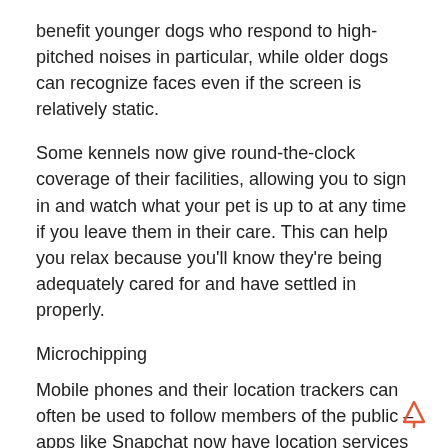benefit younger dogs who respond to high-pitched noises in particular, while older dogs can recognize faces even if the screen is relatively static.
Some kennels now give round-the-clock coverage of their facilities, allowing you to sign in and watch what your pet is up to at any time if you leave them in their care. This can help you relax because you'll know they're being adequately cared for and have settled in properly.
Microchipping
Mobile phones and their location trackers can often be used to follow members of the public – apps like Snapchat now have location services enabled! A microchip implanted in an animal function similarly. When a missing pet, particularly a cat or dog, is discovered, one of the